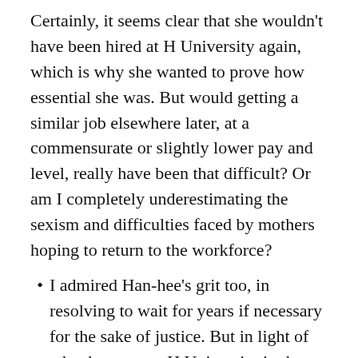Certainly, it seems clear that she wouldn't have been hired at H University again, which is why she wanted to prove how essential she was. But would getting a similar job elsewhere later, at a commensurate or slightly lower pay and level, really have been that difficult? Or am I completely underestimating the sexism and difficulties faced by mothers hoping to return to the workforce?
I admired Han-hee's grit too, in resolving to wait for years if necessary for the sake of justice. But in light of what happens at H University in the